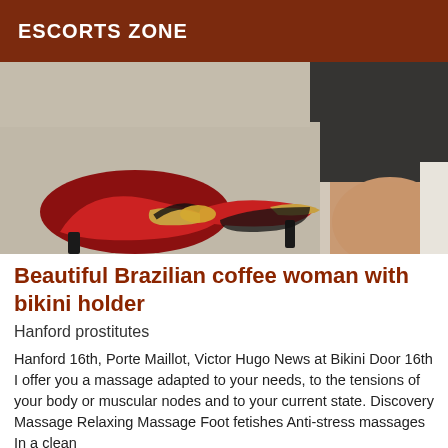ESCORTS ZONE
[Figure (photo): Photo showing red high heel shoes and part of a person wearing a black lace outfit, on a light beige carpet background]
Beautiful Brazilian coffee woman with bikini holder
Hanford prostitutes
Hanford 16th, Porte Maillot, Victor Hugo News at Bikini Door 16th I offer you a massage adapted to your needs, to the tensions of your body or muscular nodes and to your current state. Discovery Massage Relaxing Massage Foot fetishes Anti-stress massages In a clean